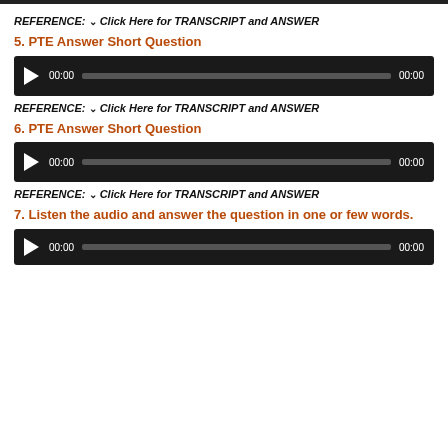REFERENCE: ˅ Click Here for TRANSCRIPT and ANSWER
5. PTE Answer Short Question
[Figure (other): Audio player widget with play button, progress bar, and time display showing 00:00]
REFERENCE: ˅ Click Here for TRANSCRIPT and ANSWER
6. PTE Answer Short Question
[Figure (other): Audio player widget with play button, progress bar, and time display showing 00:00]
REFERENCE: ˅ Click Here for TRANSCRIPT and ANSWER
7. Listen the audio and answer the question in one or few words.
[Figure (other): Audio player widget partially visible at bottom with play button and time display]